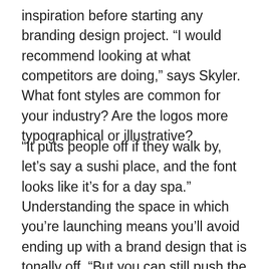inspiration before starting any branding design project. “I would recommend looking at what competitors are doing,” says Skyler. What font styles are common for your industry? Are the logos more typographical or illustrative?
“It puts people off if they walk by, let’s say a sushi place, and the font looks like it’s for a day spa.” Understanding the space in which you’re launching means you’ll avoid ending up with a brand design that is tonally off. “But you can still push the boundaries and try new things within that realm.”